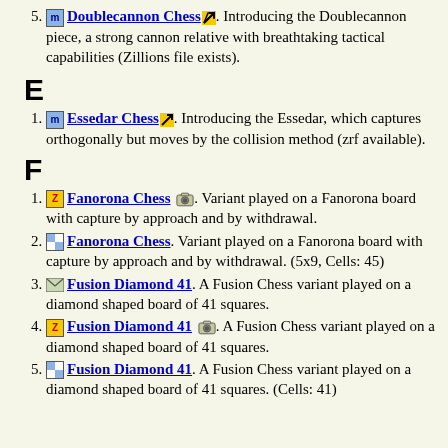5. [m icon] Doublecannon Chess [arrow]. Introducing the Doublecannon piece, a strong cannon relative with breathtaking tactical capabilities (Zillions file exists).
E
1. [m icon] Essedar Chess [arrow]. Introducing the Essedar, which captures orthogonally but moves by the collision method (zrf available).
F
1. [Z icon] Fanorona Chess [camera]. Variant played on a Fanorona board with capture by approach and by withdrawal.
2. [checker icon] Fanorona Chess. Variant played on a Fanorona board with capture by approach and by withdrawal. (5x9, Cells: 45)
3. [env icon] Fusion Diamond 41. A Fusion Chess variant played on a diamond shaped board of 41 squares.
4. [Z icon] Fusion Diamond 41 [camera]. A Fusion Chess variant played on a diamond shaped board of 41 squares.
5. [checker icon] Fusion Diamond 41. A Fusion Chess variant played on a diamond shaped board of 41 squares. (Cells: 41)